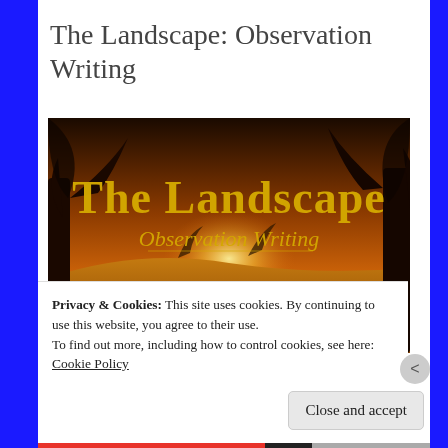The Landscape: Observation Writing
[Figure (illustration): A dramatic landscape photo with warm golden sunset light over a grassy field with trees. Overlaid text reads 'The Landscape' in large gold serif font and 'Observation Writing' in smaller gold italic font below.]
Privacy & Cookies: This site uses cookies. By continuing to use this website, you agree to their use.
To find out more, including how to control cookies, see here:
Cookie Policy
Close and accept